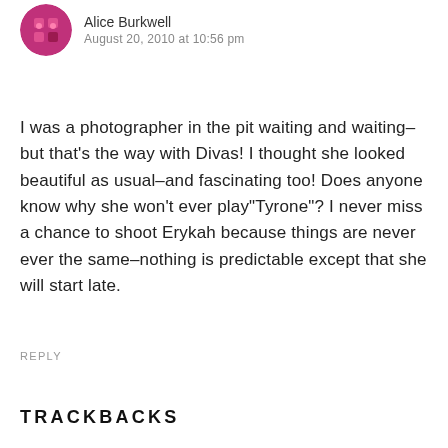[Figure (photo): Circular avatar image of Alice Burkwell with red/pink tones]
Alice Burkwell
August 20, 2010 at 10:56 pm
I was a photographer in the pit waiting and waiting–but that's the way with Divas! I thought she looked beautiful as usual–and fascinating too! Does anyone know why she won't ever play"Tyrone"? I never miss a chance to shoot Erykah because things are never ever the same–nothing is predictable except that she will start late.
REPLY
TRACKBACKS